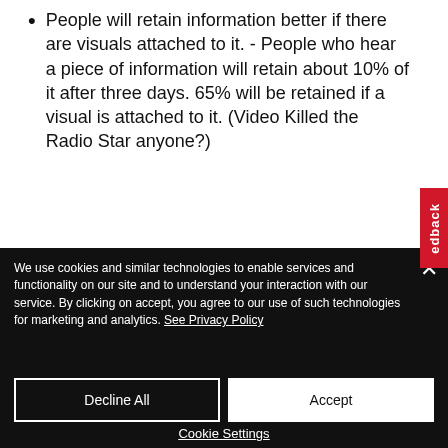People will retain information better if there are visuals attached to it. - People who hear a piece of information will retain about 10% of it after three days. 65% will be retained if a visual is attached to it. (Video Killed the Radio Star anyone?)
We use cookies and similar technologies to enable services and functionality on our site and to understand your interaction with our service. By clicking on accept, you agree to our use of such technologies for marketing and analytics. See Privacy Policy
Decline All
Accept
Cookie Settings